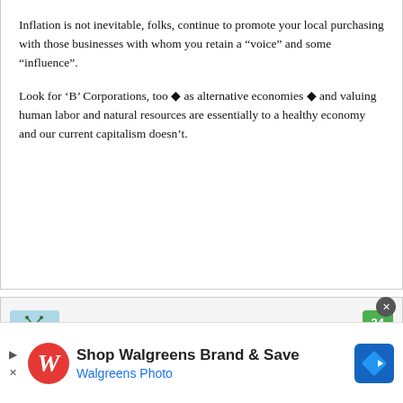Inflation is not inevitable, folks, continue to promote your local purchasing with those businesses with whom you retain a “voice” and some “influence”.
Look for ‘B’ Corporations, too � as alternative economies � and valuing human labor and natural resources are essentially to a healthy economy and our current capitalism doesn’t.
Wendy says
[Figure (illustration): Small cartoon bug/ant avatar icon in light blue background]
34
[Figure (logo): Walgreens advertisement banner: Shop Walgreens Brand & Save, Walgreens Photo, with Walgreens W logo and blue road sign icon]